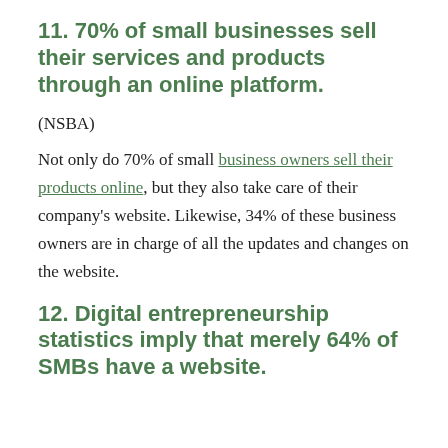11. 70% of small businesses sell their services and products through an online platform.
(NSBA)
Not only do 70% of small business owners sell their products online, but they also take care of their company’s website. Likewise, 34% of these business owners are in charge of all the updates and changes on the website.
12. Digital entrepreneurship statistics imply that merely 64% of SMBs have a website.